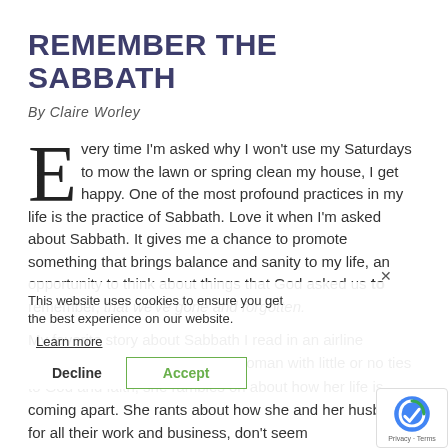REMEMBER THE SABBATH
By Claire Worley
Every time I'm asked why I won't use my Saturdays to mow the lawn or spring clean my house, I get happy. One of the most profound practices in my life is the practice of Sabbath. Love it when I'm asked about Sabbath. It gives me a chance to promote something that brings balance and sanity to my life, an opportunity to think about things that God asked us to remember, that we've gone and forgotten.
This website uses cookies to ensure you get the best experience on our website
Learn more
Decline   Accept
My favorite story about Sabbath I read in an airline magazine. Written by a Jewish woman with little or no ties to God and faith, she rambles on about how her life is coming apart. She rants about how she and her husband, for all their work and business, don't seem